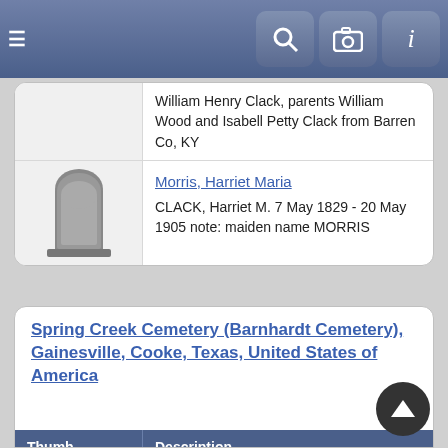[Figure (screenshot): Mobile app navigation bar with hamburger menu icon on left, and search, camera, and info buttons on right, blue gradient background]
| Thumb | Description |
| --- | --- |
| [gravestone image] | William Henry Clack, parents William Wood and Isabell Petty Clack from Barren Co, KY |
| [gravestone image] | Morris, Harriet Maria
CLACK, Harriet M. 7 May 1829 - 20 May 1905 note: maiden name MORRIS |
Spring Creek Cemetery (Barnhardt Cemetery), Gainesville, Cooke, Texas, United States of America
| Thumb | Description |
| --- | --- |
| [gravestone image] | Clack, James Alexander
CLACK, J.A. Oct 1 1840 - Dec 21 1923 |
| [gravestone image green] | Clack, John Overton C.
CLACK, J.O.C. Apr 26 1862 - Dec 13 1883 |